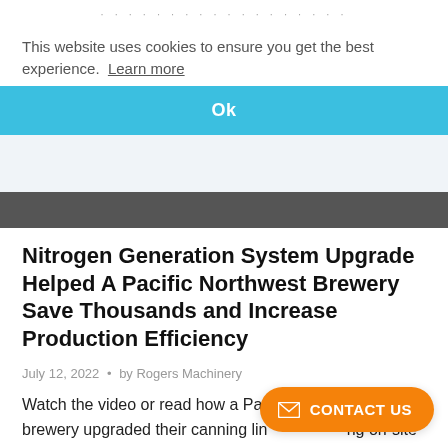This website uses cookies to ensure you get the best experience. Learn more
Ok
Nitrogen Generation System Upgrade Helped A Pacific Northwest Brewery Save Thousands and Increase Production Efficiency
July 12, 2022 • by Rogers Machinery
Watch the video or read how a Pacific Northwest brewery upgraded their canning line by installing on-site nitrogen generation system, increasing production and saving them thousands...